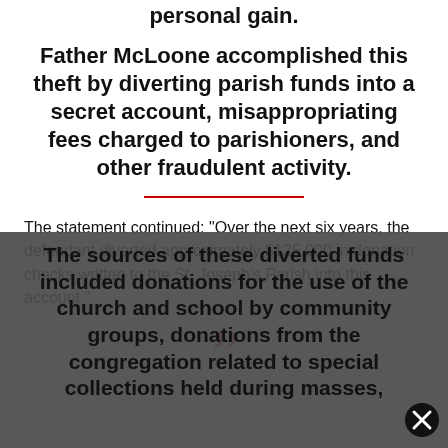personal gain.
Father McLoone accomplished this theft by diverting parish funds into a secret account, misappropriating fees charged to parishioners, and other fraudulent activity.
The statement continued: "Over the next six years, the defendant diverted approximately $125,000 in donation checks written to the St. Joseph's Parish into this account."
The sources of these diverted funds included donations for the use of the church and school by community groups, donations from the congregation related to special collections held during masses,